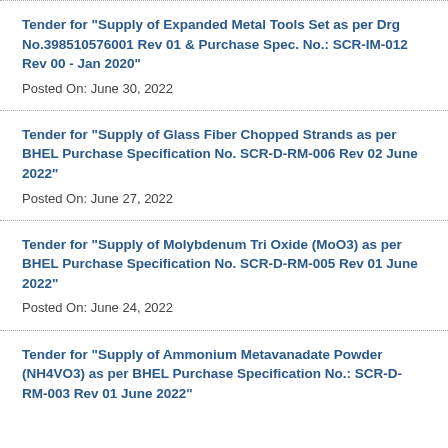Tender for "Supply of Expanded Metal Tools Set as per Drg No.398510576001 Rev 01 & Purchase Spec. No.: SCR-IM-012 Rev 00 - Jan 2020"
Posted On: June 30, 2022
Tender for "Supply of Glass Fiber Chopped Strands as per BHEL Purchase Specification No. SCR-D-RM-006 Rev 02 June 2022"
Posted On: June 27, 2022
Tender for "Supply of Molybdenum Tri Oxide (MoO3) as per BHEL Purchase Specification No. SCR-D-RM-005 Rev 01 June 2022"
Posted On: June 24, 2022
Tender for "Supply of Ammonium Metavanadate Powder (NH4VO3) as per BHEL Purchase Specification No.: SCR-D-RM-003 Rev 01 June 2022"